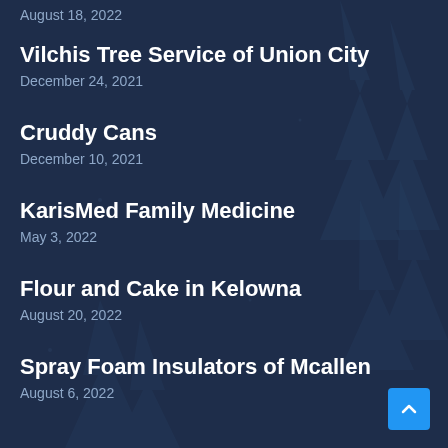August 18, 2022
Vilchis Tree Service of Union City
December 24, 2021
Cruddy Cans
December 10, 2021
KarisMed Family Medicine
May 3, 2022
Flour and Cake in Kelowna
August 20, 2022
Spray Foam Insulators of Mcallen
August 6, 2022